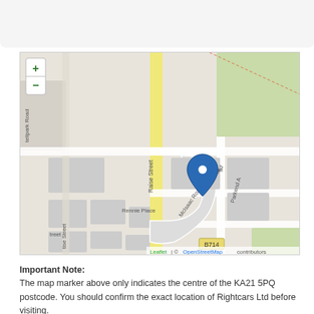[Figure (map): OpenStreetMap tile showing streets around KA21 5PQ postcode in Saltcoats, Scotland. Streets visible: Kerr Avenue, Raise Street, Rennie Place, Glebe Road, Wyllie Road, McIsaac Road, Parkend Avenue, Castlepark Road, B714 road. A blue location pin marker is placed at the centre of the postcode. Zoom controls (+/-) appear in top-left. Leaflet | © OpenStreetMap contributors attribution at bottom-right.]
Important Note:
The map marker above only indicates the centre of the KA21 5PQ postcode. You should confirm the exact location of Rightcars Ltd before visiting.